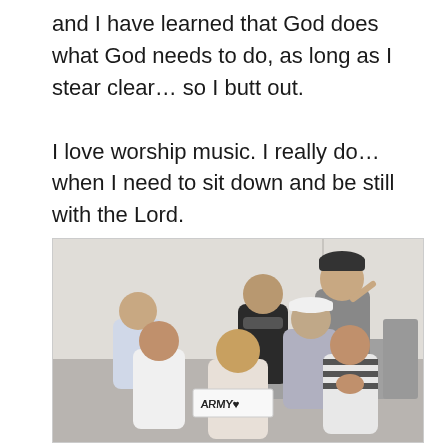and I have learned that God does what God needs to do, as long as I stear clear… so I butt out.

I love worship music. I really do… when I need to sit down and be still with the Lord.
[Figure (photo): Group photo of seven young men, appearing to be a K-pop group. One person in the back right wears a black beanie and is making a finger-gun pose. Others are posing and smiling. One person in the front holds a sign that reads 'ARMY' with a heart symbol. The setting appears to be a backstage or dressing room.]